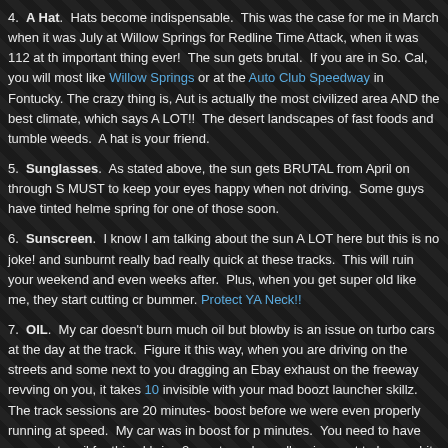4.  A Hat.  Hats become indispensable.  This was the case for me in March when it was July at Willow Springs for Redline Time Attack, when it was 112 at the important thing ever!  The sun gets brutal.  If you are in So. Cal, you will most like Willow Springs or at the Auto Club Speedway in Fontucky. The crazy thing is, Au is actually the most civilized area AND the best climate, which says A LOT!!  The desert landscapes of fast foods and tumble weeds.  A hat is your friend.
5.  Sunglasses.  As stated above, the sun gets BRUTAL from April on through S MUST to keep your eyes happy when not driving.  Some guys have tinted helme spring for one of those soon.
6.  Sunscreen.  I know I am talking about the sun A LOT here but this is no joke! and sunburnt really bad really quick at these tracks.  This will ruin your weekend and even weeks after.  Plus, when you get super old like me, they start cutting cr bummer. Protect YA Neck!!
7.  OIL.  My car doesn't burn much oil but blowby is an issue on turbo cars at the day at the track.  Figure it this way, when you are driving on the streets and some next to you dragging an Ebay exhaust on the freeway revving on you, it takes 10 invisible with your mad boozt launcher skillz.  The track sessions are 20 minutes- boost before we were even properly running at speed.  My car was in boost for p minutes.  You need to have some extra oil for this.  I bring 2 quarts and usually u is smart to have a bit of overkill.  You should know your car.  You know what it bu be running harder than ever before!!